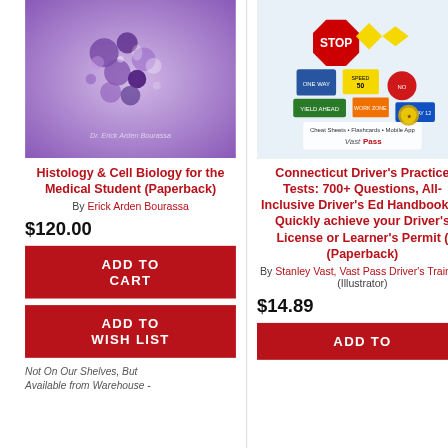[Figure (photo): Book cover for Histology & Cell Biology for the Medical Student, showing purple/blue microscopy imagery]
Histology & Cell Biology for the Medical Student (Paperback)
By Erick Arden Bourassa
$120.00
ADD TO CART
ADD TO WISH LIST
Not On Our Shelves, But Available from Warehouse -
[Figure (photo): Book cover for Connecticut Driver's Practice Tests, showing colorful road signs including STOP sign]
Connecticut Driver's Practice Tests: 700+ Questions, All-Inclusive Driver's Ed Handbook to Quickly achieve your Driver's License or Learner's Permit ( (Paperback)
By Stanley Vast, Vast Pass Driver's Training (Illustrator)
$14.89
ADD TO